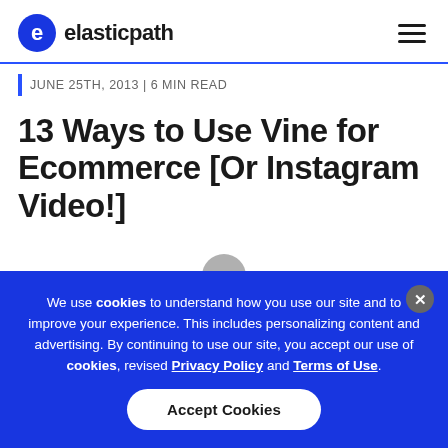elasticpath
June 25th, 2013 | 6 MIN READ
13 Ways to Use Vine for Ecommerce [Or Instagram Video!]
We use cookies to understand how you use our site and to improve your experience. This includes personalizing content and advertising. By continuing to use our site, you accept our use of cookies, revised Privacy Policy and Terms of Use.
Accept Cookies